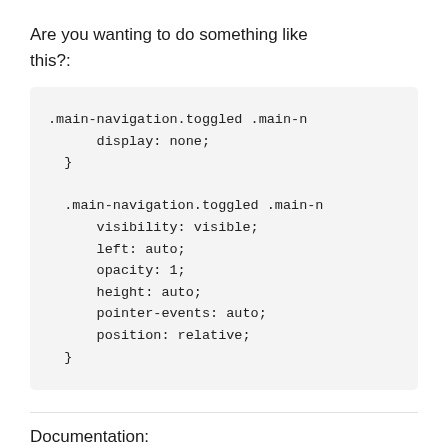Are you wanting to do something like this?:
[Figure (screenshot): Code block showing CSS rules: .main-navigation.toggled .main-n { display: none; } and .main-navigation.toggled .main-n { visibility: visible; left: auto; opacity: 1; height: auto; pointer-events: auto; position: relative; }]
Documentation:
http://docs.generatepress.com/